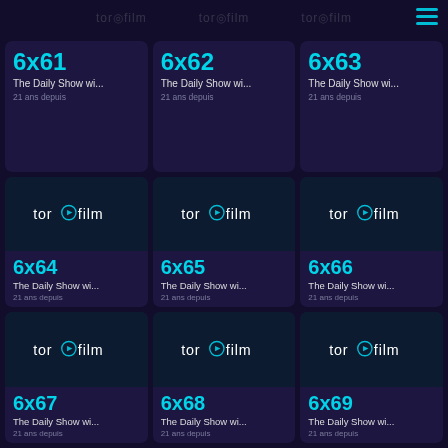torofilm torofilm torofilm
[Figure (screenshot): Grid of 9 episode cards for The Daily Show on torofilm streaming app, episodes 6x61 through 6x69, each showing torofilm logo thumbnail, episode number, truncated title, and '21 ans depuis' date]
6x61 The Daily Show wi... 21 ans depuis
6x62 The Daily Show wi... 21 ans depuis
6x63 The Daily Show wi... 21 ans depuis
6x64 The Daily Show wi... 21 ans depuis
6x65 The Daily Show wi... 21 ans depuis
6x66 The Daily Show wi... 21 ans depuis
6x67 The Daily Show wi... 21 ans depuis
6x68 The Daily Show wi... 21 ans depuis
6x69 The Daily Show wi... 21 ans depuis